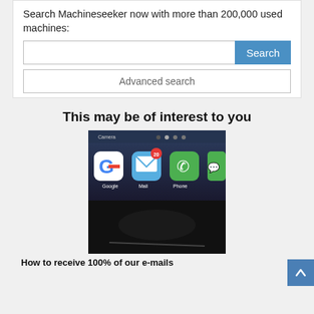Search Machineseeker now with more than 200,000 used machines:
[Figure (screenshot): Search input field with blue Search button and Advanced search button below]
This may be of interest to you
[Figure (photo): Close-up of a smartphone screen showing Google, Mail (with badge 20), and Phone app icons]
How to receive 100% of our e-mails